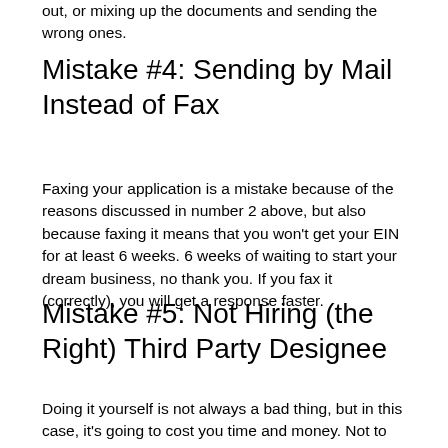out, or mixing up the documents and sending the wrong ones.
Mistake #4: Sending by Mail Instead of Fax
Faxing your application is a mistake because of the reasons discussed in number 2 above, but also because faxing it means that you won't get your EIN for at least 6 weeks. 6 weeks of waiting to start your dream business, no thank you. If you fax it (correctly), you will get a response faster.
Mistake #5: Not Hiring (the Right) Third Party Designee
Doing it yourself is not always a bad thing, but in this case, it's going to cost you time and money. Not to mention the changes of making mistakes 1-4 above. When it comes to starting your